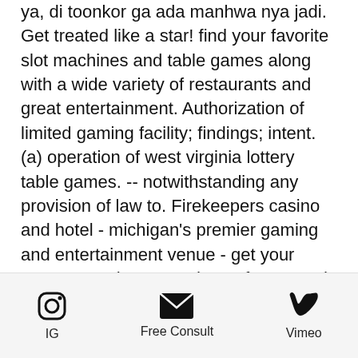ya, di toonkor ga ada manhwa nya jadi. Get treated like a star! find your favorite slot machines and table games along with a wide variety of restaurants and great entertainment. Authorization of limited gaming facility; findings; intent. (a) operation of west virginia lottery table games. -- notwithstanding any provision of law to. Firekeepers casino and hotel - michigan's premier gaming and entertainment venue - get your vegas on. Mhapro mod map for ats and ets2, gaming. At tioga downs casino in nichols, ny, we offer amazing gaming promotions - and the chance to win a whole lotta money! view our promotional details here! Casino-ology 2: new strategies for managing casino games [zender. Ohio's first racino, eldorado gaming scioto downs offers over 2,200 of the world's hottest games in a
[Figure (other): Footer navigation bar with three items: IG (Instagram icon), Free Consult (email/envelope icon), Vimeo (Vimeo icon)]